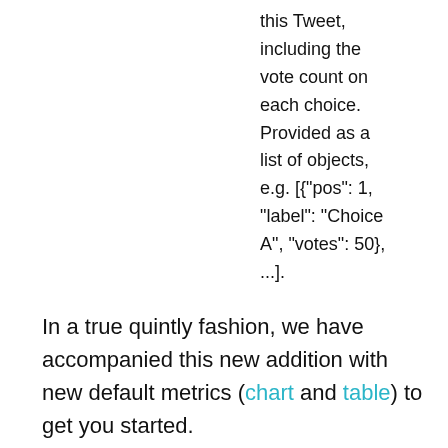this Tweet, including the vote count on each choice. Provided as a list of objects, e.g. [{"pos": 1, "label": "Choice A", "votes": 50}, ...].
In a true quintly fashion, we have accompanied this new addition with new default metrics (chart and table) to get you started.